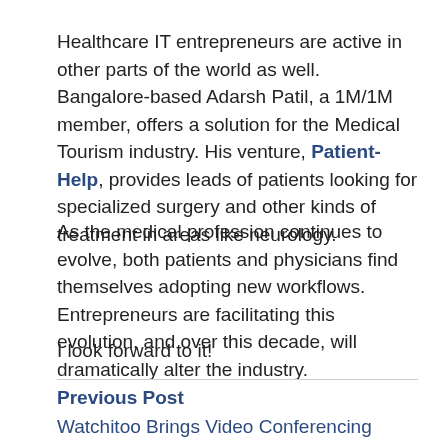Healthcare IT entrepreneurs are active in other parts of the world as well. Bangalore-based Adarsh Patil, a 1M/1M member, offers a solution for the Medical Tourism industry. His venture, Patient-Help, provides leads of patients looking for specialized surgery and other kinds of treatment in areas like neurology.
As the medical profession continues to evolve, both patients and physicians find themselves adopting new workflows. Entrepreneurs are facilitating this evolution, and over this decade, will dramatically alter the industry.
I look forward to it!
Previous Post
Watchitoo Brings Video Conferencing Platform to Online Education